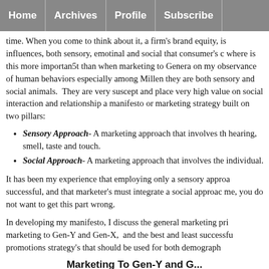Home | Archives | Profile | Subscribe
time. When you come to think about it, a firm's brand equity, is influences, both sensory, emotinal and social that consumer's c where is this more importan5t than when marketing to Genera on my observance of human behaviors especially among Millen they are both sensory and social animals. They are very suscept and place very high value on social interaction and relationship a manifesto or marketing strategy built on two pillars:
Sensory Approach - A marketing approach that involves th hearing, smell, taste and touch.
Social Approach - A marketing approach that involves the individual.
It has been my experience that employing only a sensory approa successful, and that marketer's must integrate a social approac me, you do not want to get this part wrong.
In developing my manifesto, I discuss the general marketing pri marketing to Gen-Y and Gen-X, and the best and least successfu promotions strategy's that should be used for both demograph
Marketing To Gen-Y and G...